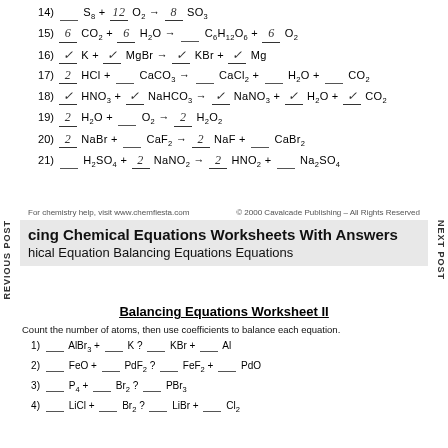14) __ S8 + 12 O2 → 8 SO3
15) 6 CO2 + 6 H2O → __ C6H12O6 + 6 O2
16) ✓ K + ✓ MgBr → ✓ KBr + ✓ Mg
17) 2 HCl + __ CaCO3 → __ CaCl2 + __ H2O + __ CO2
18) ✓ HNO3 + ✓ NaHCO3 → ✓ NaNO3 + ✓ H2O + ✓ CO2
19) 2 H2O + __ O2 → 2 H2O2
20) 2 NaBr + __ CaF2 → 2 NaF + __ CaBr2
21) __ H2SO4 + 2 NaNO2 → 2 HNO2 + __ Na2SO4
For chemistry help, visit www.chemfiesta.com   © 2000 Cavalcade Publishing – All Rights Reserved
cing Chemical Equations Worksheets With Answers
hical Equation Balancing Equations Equations
Balancing Equations Worksheet II
Count the number of atoms, then use coefficients to balance each equation.
1) ____ AlBr3 + ____ K ? ____ KBr + ____ Al
2) ____ FeO + ____ PdF2 ? ____ FeF2 + ____ PdO
3) ____ P4 + ____ Br2 ? ____ PBr3
4) ____ LiCl + ____ Br2 ? ____ LiBr + ____ Cl2